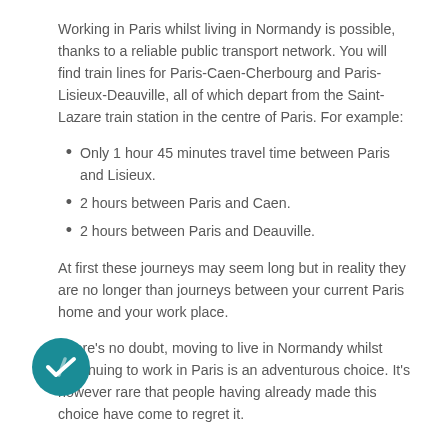Working in Paris whilst living in Normandy is possible, thanks to a reliable public transport network. You will find train lines for Paris-Caen-Cherbourg and Paris-Lisieux-Deauville, all of which depart from the Saint-Lazare train station in the centre of Paris. For example:
Only 1 hour 45 minutes travel time between Paris and Lisieux.
2 hours between Paris and Caen.
2 hours between Paris and Deauville.
At first these journeys may seem long but in reality they are no longer than journeys between your current Paris home and your work place.
There’s no doubt, moving to live in Normandy whilst continuing to work in Paris is an adventurous choice. It’s however rare that people having already made this choice have come to regret it.
[Figure (illustration): Teal circular badge with a checkmark/tick icon inside]